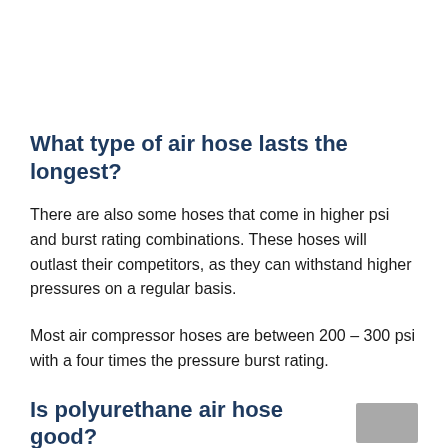What type of air hose lasts the longest?
There are also some hoses that come in higher psi and burst rating combinations. These hoses will outlast their competitors, as they can withstand higher pressures on a regular basis.
Most air compressor hoses are between 200 – 300 psi with a four times the pressure burst rating.
Is polyurethane air hose good?